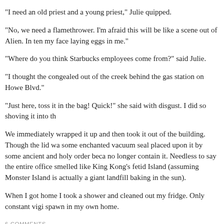"I need an old priest and a young priest," Julie quipped.
"No, we need a flamethrower. I'm afraid this will be like a scene out of Alien. In ten my face laying eggs in me."
"Where do you think Starbucks employees come from?" said Julie.
"I thought the congealed out of the creek behind the gas station on Howe Blvd."
"Just here, toss it in the bag! Quick!" she said with disgust. I did so shoving it into th
We immediately wrapped it up and then took it out of the building. Though the lid wa some enchanted vacuum seal placed upon it by some ancient and holy order beca no longer contain it. Needless to say the entire office smelled like King Kong's fetid Island (assuming Monster Island is actually a giant landfill baking in the sun).
When I got home I took a shower and cleaned out my fridge. Only constant vigi spawn in my own home.
6 COMMENTS